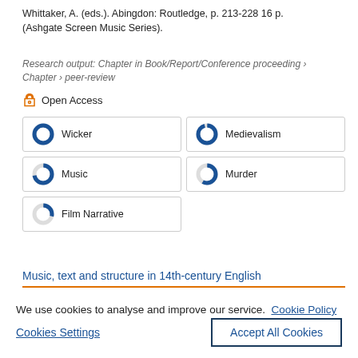Whittaker, A. (eds.). Abingdon: Routledge, p. 213-228 16 p. (Ashgate Screen Music Series).
Research output: Chapter in Book/Report/Conference proceeding › Chapter › peer-review
Open Access
Wicker
Medievalism
Music
Murder
Film Narrative
Music, text and structure in 14th-century English
We use cookies to analyse and improve our service. Cookie Policy
Cookies Settings
Accept All Cookies